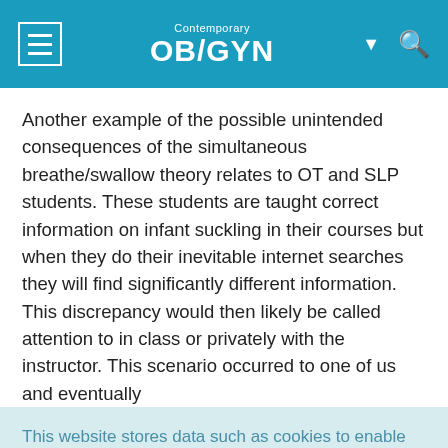Contemporary OB/GYN
Another example of the possible unintended consequences of the simultaneous breathe/swallow theory relates to OT and SLP students. These students are taught correct information on infant suckling in their courses but when they do their inevitable internet searches they will find significantly different information. This discrepancy would then likely be called attention to in class or privately with the instructor. This scenario occurred to one of us and eventually
This website stores data such as cookies to enable essential site functionality, as well as marketing, personalization, and analytics. Cookie Policy
Accept
Deny